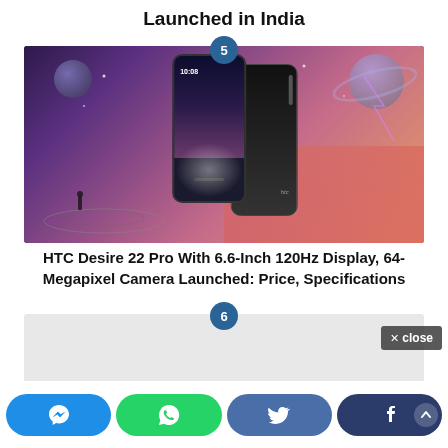Launched in India
[Figure (photo): HTC smartphone product image showing front and back of device against a cosmic/space background with planets and stars]
HTC Desire 22 Pro With 6.6-Inch 120Hz Display, 64-Megapixel Camera Launched: Price, Specifications
[Figure (screenshot): Numbered item 6 content box - gray placeholder area]
[Figure (screenshot): Social sharing bar with Messenger, WhatsApp, Twitter, and Facebook buttons]